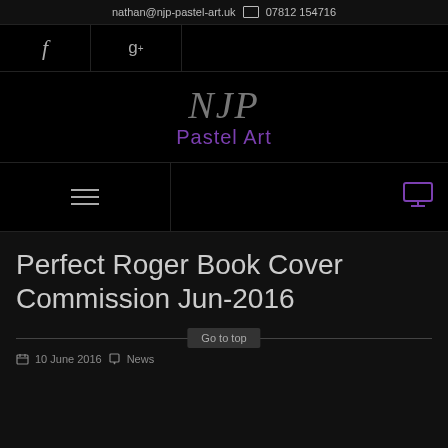nathan@njp-pastel-art.uk  07812 154716
[Figure (screenshot): Social media icons bar with Facebook 'f' and Google+ 'g+' icons on black background]
[Figure (logo): NJP Pastel Art logo with stylized NJP text in grey and 'Pastel Art' in purple on black background]
[Figure (screenshot): Navigation bar with hamburger menu icon on left and monitor icon on right on black background]
Perfect Roger Book Cover Commission Jun-2016
10 June 2016  News